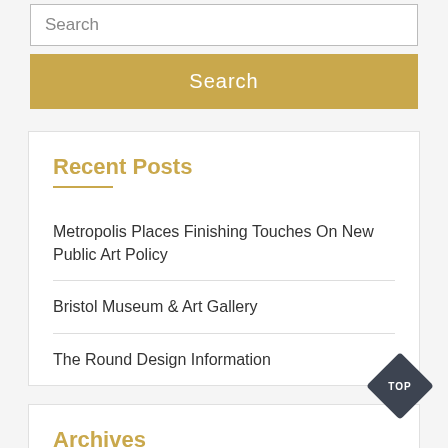Search
Search
Recent Posts
Metropolis Places Finishing Touches On New Public Art Policy
Bristol Museum & Art Gallery
The Round Design Information
Archives